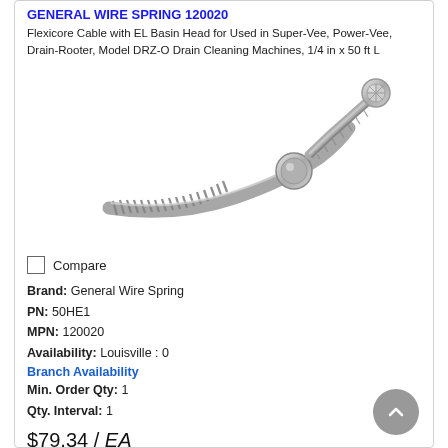GENERAL WIRE SPRING 120020
Flexicore Cable with EL Basin Head for Used in Super-Vee, Power-Vee, Drain-Rooter, Model DRZ-O Drain Cleaning Machines, 1/4 in x 50 ft L
[Figure (photo): Photo of a flexicore drain cleaning cable with a basin head attachment, metallic silver color, coiled spring body curving upward to a twisted cable end with a round head fitting]
Compare
Brand: General Wire Spring
PN: 50HE1
MPN: 120020
Availability: Louisville : 0
Branch Availability
Min. Order Qty: 1
Qty. Interval: 1
$79.34 / EA